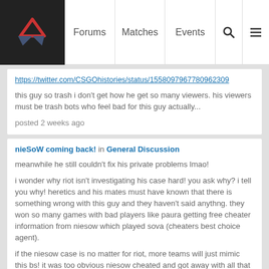Forums | Matches | Events
https://twitter.com/CSGOhistories/status/1558097967780962309
this guy so trash i don't get how he get so many viewers. his viewers must be trash bots who feel bad for this guy actually...
posted 2 weeks ago
nieSoW coming back! in General Discussion
meanwhile he still couldn't fix his private problems lmao!
i wonder why riot isn't investigating his case hard! you ask why? i tell you why! heretics and his mates must have known that there is something wrong with this guy and they haven't said anythng. they won so many games with bad players like paura getting free cheater information from niesow which played sova (cheaters best choice agent).
if the niesow case is no matter for riot, more teams will just mimic this bs! it was too obvious niesow cheated and got away with all that and riot doesn't care...
you cant tell me someone quit his job and closes the source of money he need just because he had private problems!